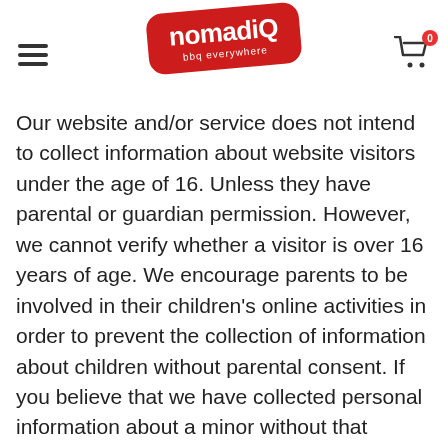nomadiQ bbq everywhere
Our website and/or service does not intend to collect information about website visitors under the age of 16. Unless they have parental or guardian permission. However, we cannot verify whether a visitor is over 16 years of age. We encourage parents to be involved in their children's online activities in order to prevent the collection of information about children without parental consent. If you believe that we have collected personal information about a minor without that consent, please contact us at info@nomadiQbbq.com and we will delete that information. Processing your payment Sending our newsletter and/or advertising brochure
To be able to call or e-mail you if this is